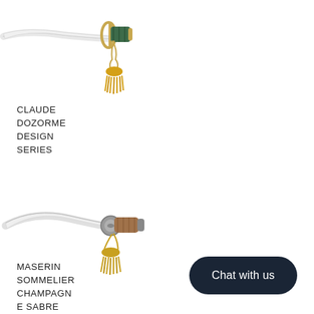[Figure (photo): A champagne sabre/knife with a white blade, green handle, gold guard/ring, and a yellow tassel hanging from the guard. The blade points left, and the handle/tassel are on the right side, viewed from above.]
CLAUDE DOZORME DESIGN SERIES
size details
[Figure (photo): A champagne sabre/knife with a curved white blade, wooden/brown handle, a metal guard/disk, and a yellow tassel with gold cord dangling below. The blade points upper left, handle to the right.]
MASERIN SOMMELIER CHAMPAGNE SABRE